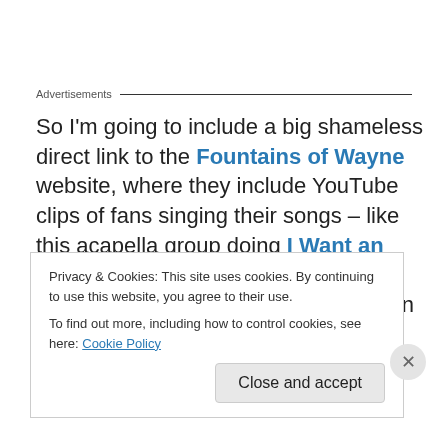Advertisements
So I'm going to include a big shameless direct link to the Fountains of Wayne website, where they include YouTube clips of fans singing their songs – like this acapella group doing I Want an Alien for Christmas, in a car. Watch the band videos, and check out the fan videos tag for Hey Julie and Hackensack.  Sing along, tap your feet, shake from side to side, smile!
Privacy & Cookies: This site uses cookies. By continuing to use this website, you agree to their use.
To find out more, including how to control cookies, see here: Cookie Policy